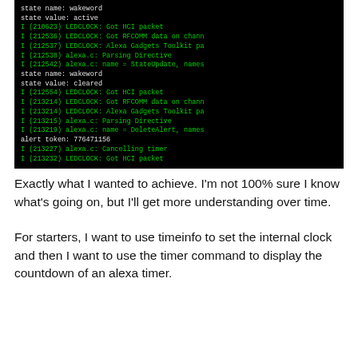[Figure (screenshot): Terminal/console output screenshot on black background with white and green monospace text showing LEDCLOCK debug log lines including state updates (wakeword active, wakeword cleared), HCI packets, RFCOMM data, Alexa Gadgets Toolkit packets, parsing directives, StateUpdate, DeleteAlert with alert token 776471156, and timer cancellation.]
Exactly what I wanted to achieve. I'm not 100% sure I know what's going on, but I'll get more understanding over time.
For starters, I want to use timeinfo to set the internal clock and then I want to use the timer command to display the countdown of an alexa timer.